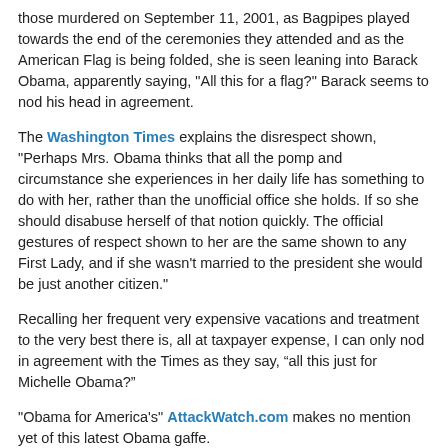those murdered on September 11, 2001, as Bagpipes played towards the end of the ceremonies they attended and as the American Flag is being folded, she is seen leaning into Barack Obama, apparently saying, "All this for a flag?" Barack seems to nod his head in agreement.
The Washington Times explains the disrespect shown, "Perhaps Mrs. Obama thinks that all the pomp and circumstance she experiences in her daily life has something to do with her, rather than the unofficial office she holds. If so she should disabuse herself of that notion quickly. The official gestures of respect shown to her are the same shown to any First Lady, and if she wasn't married to the president she would be just another citizen."
Recalling her frequent very expensive vacations and treatment to the very best there is, all at taxpayer expense, I can only nod in agreement with the Times as they say, “all this just for Michelle Obama?”
"Obama for America's" AttackWatch.com makes no mention yet of this latest Obama gaffe.